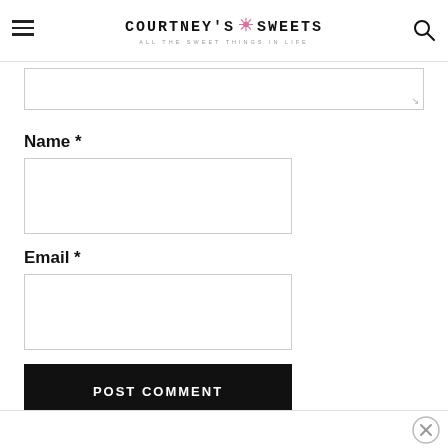COURTNEY'S SWEETS — ALL THE SWEET THINGS IN LIFE
[Figure (screenshot): Comment textarea (partially visible, scrolled), with resize handle at bottom right]
Name *
[Figure (screenshot): Name input field (empty text box)]
Email *
[Figure (screenshot): Email input field (empty text box)]
[Figure (screenshot): POST COMMENT button (black background, white uppercase text)]